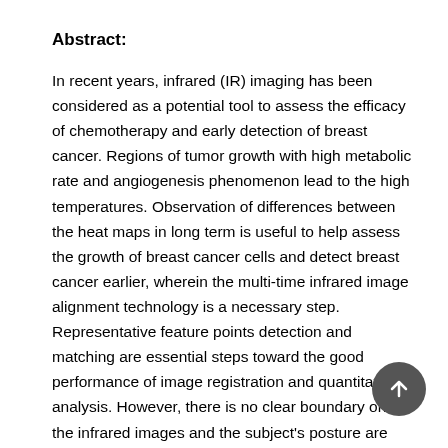Abstract:
In recent years, infrared (IR) imaging has been considered as a potential tool to assess the efficacy of chemotherapy and early detection of breast cancer. Regions of tumor growth with high metabolic rate and angiogenesis phenomenon lead to the high temperatures. Observation of differences between the heat maps in long term is useful to help assess the growth of breast cancer cells and detect breast cancer earlier, wherein the multi-time infrared image alignment technology is a necessary step. Representative feature points detection and matching are essential steps toward the good performance of image registration and quantitative analysis. However, there is no clear boundary on the infrared images and the subject's posture are different for each shot. It